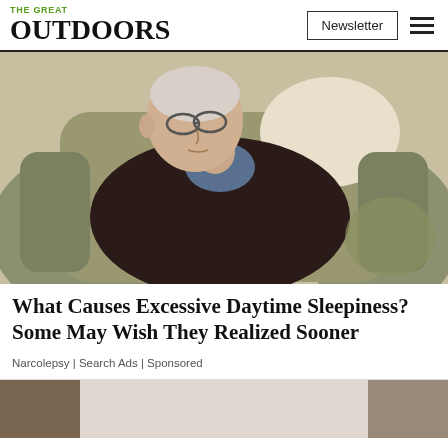THE GREAT OUTDOORS | Newsletter | [hamburger menu]
[Figure (photo): Elderly man with glasses sleeping in an armchair with arms crossed, wearing a dark sweater over a plaid shirt, head drooping to the side]
What Causes Excessive Daytime Sleepiness? Some May Wish They Realized Sooner
Narcolepsy | Search Ads | Sponsored
[Figure (photo): Bottom strip showing partial images: brown/tan tones on left, light center, muted tones on right]